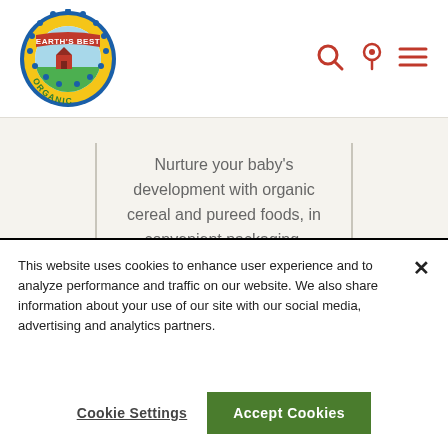[Figure (logo): Earth's Best Organic logo — circular badge with blue scalloped border, yellow ring with green 'ORGANIC' text, red banner with 'EARTH'S BEST' text, farm scene in center]
[Figure (illustration): Navigation icons: search (magnifying glass), location pin, and hamburger menu, all in orange-red color]
Nurture your baby's development with organic cereal and pureed foods, in convenient packaging.
Learn More
This website uses cookies to enhance user experience and to analyze performance and traffic on our website. We also share information about your use of our site with our social media, advertising and analytics partners.
Cookie Settings
Accept Cookies